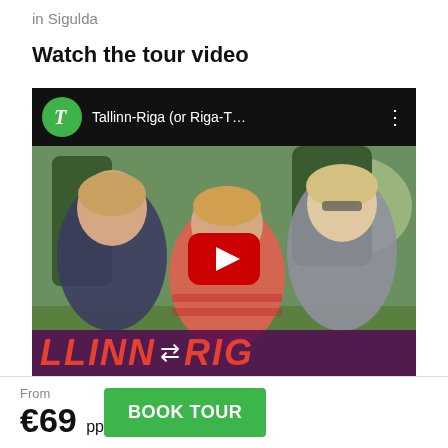in Sigulda
Watch the tour video
[Figure (screenshot): YouTube video thumbnail showing three smiling women outdoors with trees in background and text overlay 'LLINN → RIG'. Video title reads 'Tallinn-Riga (or Riga-T...' with a green T logo channel icon and YouTube play button.]
From
€69 pp
BOOK TOUR